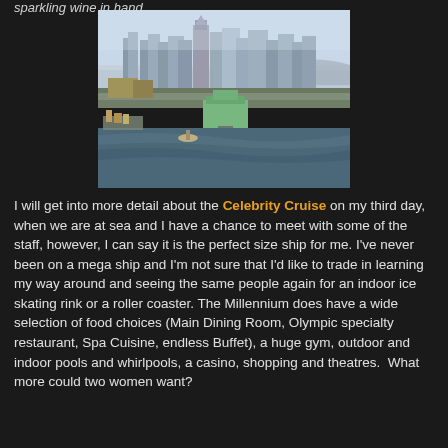sparkling wine in hand.
[Figure (photo): Aerial view of a city skyline with tall skyscrapers and a waterfront harbor with boats and a pier building in the foreground, photographed during golden hour.]
I will get into more detail about the Celebrity Cruise on my third day, when we are at sea and I have a chance to meet with some of the staff, however, I can say it is the perfect size ship for me. I've never been on a mega ship and I'm not sure that I'd like to trade in learning my way around and seeing the same people again for an indoor ice skating rink or a roller coaster. The Millennium does have a wide selection of food choices (Main Dining Room, Olympic specialty restaurant, Spa Cuisine, endless Buffet), a huge gym, outdoor and indoor pools and whirlpools, a casino, shopping and theatres.  What more could two women want?